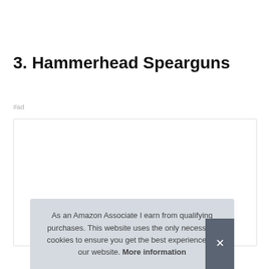3. Hammerhead Spearguns
#ad
[Figure (screenshot): Advertisement box with white background and border, partially showing a product image at the bottom]
As an Amazon Associate I earn from qualifying purchases. This website uses the only necessary cookies to ensure you get the best experience on our website. More information